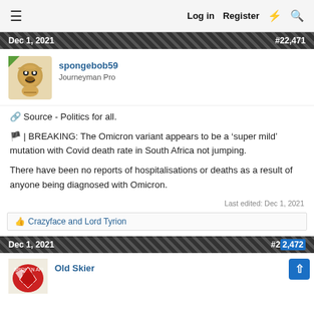≡  Log in  Register  ⚡  🔍
Dec 1, 2021  #22,471
spongebob59
Journeyman Pro
🔗 Source - Politics for all.
🇿🇦 | BREAKING: The Omicron variant appears to be a 'super mild' mutation with Covid death rate in South Africa not jumping.
There have been no reports of hospitalisations or deaths as a result of anyone being diagnosed with Omicron.
Last edited: Dec 1, 2021
👍 Crazyface and Lord Tyrion
Dec 1, 2021  #22,472
Old Skier